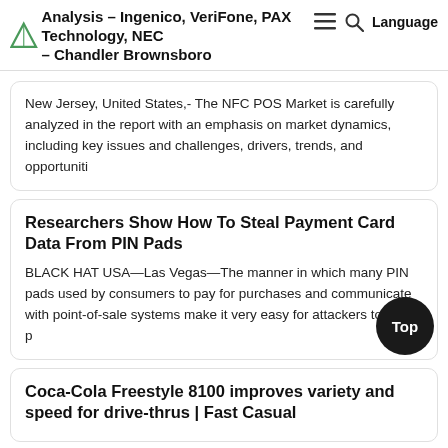Analysis – Ingenico, VeriFone, PAX Technology, NEC – Chandler Brownsboro
New Jersey, United States,- The NFC POS Market is carefully analyzed in the report with an emphasis on market dynamics, including key issues and challenges, drivers, trends, and opportuniti
Researchers Show How To Steal Payment Card Data From PIN Pads
BLACK HAT USA—Las Vegas—The manner in which many PIN pads used by consumers to pay for purchases and communicate with point-of-sale systems make it very easy for attackers to steal p
Coca-Cola Freestyle 8100 improves variety and speed for drive-thrus | Fast Casual